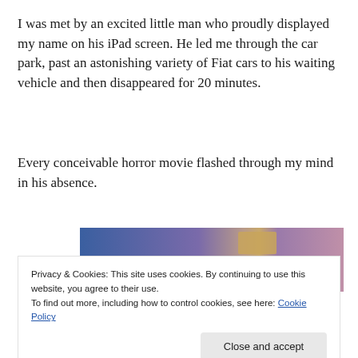I was met by an excited little man who proudly displayed my name on his iPad screen. He led me through the car park, past an astonishing variety of Fiat cars to his waiting vehicle and then disappeared for 20 minutes.
Every conceivable horror movie flashed through my mind in his absence.
[Figure (photo): A blurred gradient image with blue, purple, and tan/beige tones, partially visible behind a cookie consent banner.]
Privacy & Cookies: This site uses cookies. By continuing to use this website, you agree to their use.
To find out more, including how to control cookies, see here: Cookie Policy